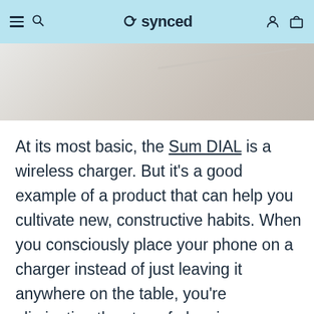synced — navigation header with hamburger menu, search, user, and cart icons
[Figure (photo): Partial view of a product — light beige/white curved surface against a neutral background, appearing to be a wireless charger device]
At its most basic, the Sum DIAL is a wireless charger. But it's a good example of a product that can help you cultivate new, constructive habits. When you consciously place your phone on a charger instead of just leaving it anywhere on the table, you're eliminating the step of plugging your phone in. Also, you